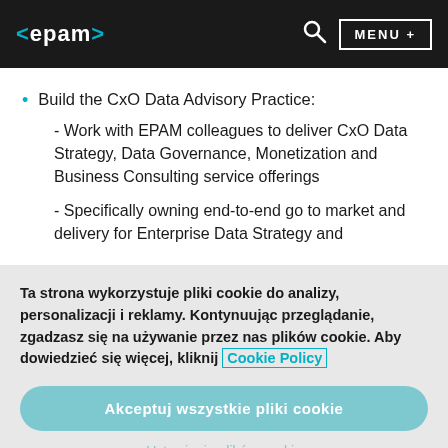<epam> MENU +
Build the CxO Data Advisory Practice:
- Work with EPAM colleagues to deliver CxO Data Strategy, Data Governance, Monetization and Business Consulting service offerings
- Specifically owning end-to-end go to market and delivery for Enterprise Data Strategy and
Ta strona wykorzystuje pliki cookie do analizy, personalizacji i reklamy. Kontynuując przeglądanie, zgadzasz się na używanie przez nas plików cookie. Aby dowiedzieć się więcej, kliknij Cookie Policy
Akceptuj wszystkie pliki cookie
Ustawienia plików cookie